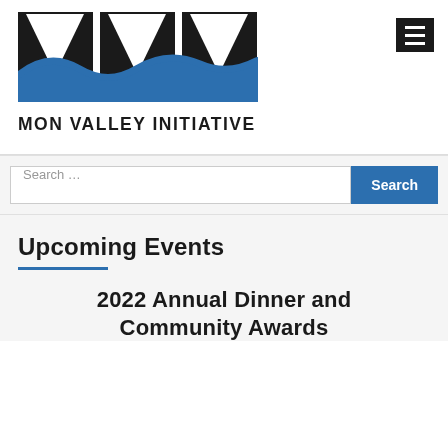[Figure (logo): Mon Valley Initiative logo with MVI letters in black and blue wave design]
Search ...
Upcoming Events
2022 Annual Dinner and Community Awards